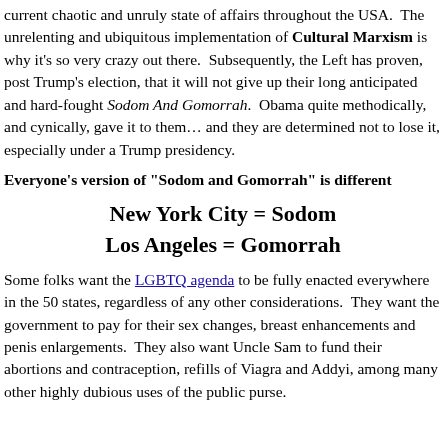current chaotic and unruly state of affairs throughout the USA.  The unrelenting and ubiquitous implementation of Cultural Marxism is why it’s so very crazy out there.  Subsequently, the Left has proven, post Trump’s election, that it will not give up their long anticipated and hard-fought Sodom And Gomorrah.  Obama quite methodically, and cynically, gave it to them… and they are determined not to lose it, especially under a Trump presidency.
Everyone’s version of “Sodom and Gomorrah” is different
New York City = Sodom
Los Angeles = Gomorrah
Some folks want the LGBTQ agenda to be fully enacted everywhere in the 50 states, regardless of any other considerations.  They want the government to pay for their sex changes, breast enhancements and penis enlargements.  They also want Uncle Sam to fund their abortions and contraception, refills of Viagra and Addyi, among many other highly dubious uses of the public purse.